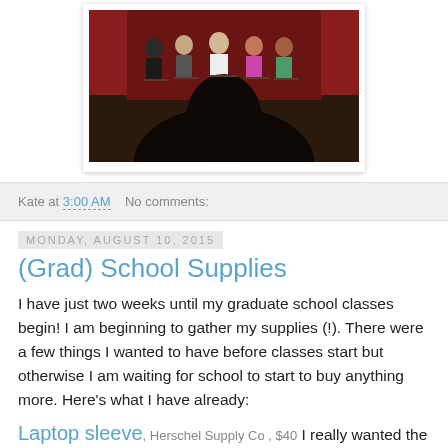[Figure (photo): Photo of a panel discussion on a stage. Several panelists seated in chairs on a stage with red curtains in the background, viewed from behind an audience member with dark hair.]
Kate at 3:00 AM    No comments:
Monday, August 10, 2015
(Grad) School Supplies
I have just two weeks until my graduate school classes begin! I am beginning to gather my supplies (!). There were a few things I wanted to have before classes start but otherwise I am waiting for school to start to buy anything more. Here's what I have already:
Laptop sleeve, Herschel Supply Co , $40  I really wanted the navy with